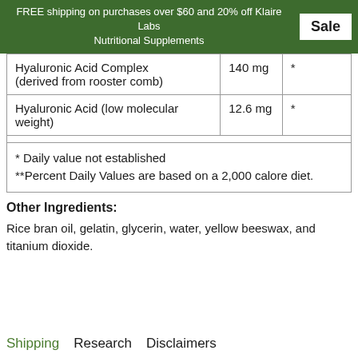FREE shipping on purchases over $60 and 20% off Klaire Labs Nutritional Supplements   Sale
| Hyaluronic Acid Complex (derived from rooster comb) | 140 mg | * |
| Hyaluronic Acid (low molecular weight) | 12.6 mg | * |
| * Daily value not established
**Percent Daily Values are based on a 2,000 calore diet. |  |  |
Other Ingredients:
Rice bran oil, gelatin, glycerin, water, yellow beeswax, and titanium dioxide.
Shipping   Research   Disclaimers